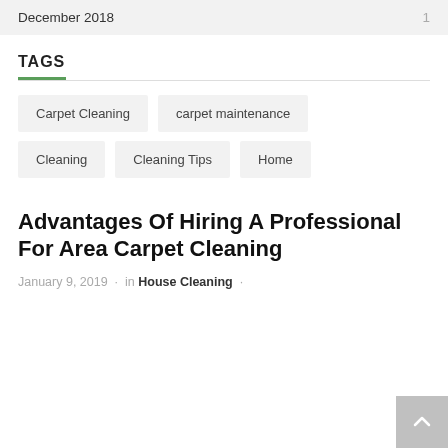December 2018   1
TAGS
Carpet Cleaning
carpet maintenance
Cleaning
Cleaning Tips
Home
Advantages Of Hiring A Professional For Area Carpet Cleaning
January 9, 2019  ·  in House Cleaning  ·